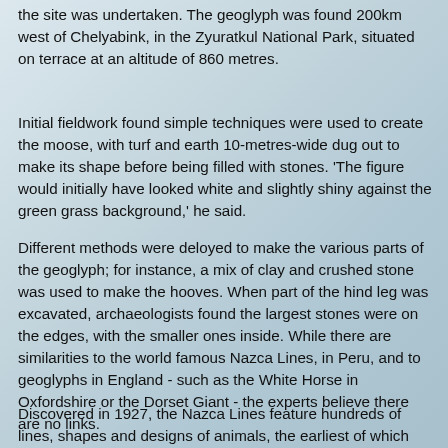the site was undertaken. The geoglyph was found 200km west of Chelyabink, in the Zyuratkul National Park, situated on terrace at an altitude of 860 metres.
Initial fieldwork found simple techniques were used to create the moose, with turf and earth 10-metres-wide dug out to make its shape before being filled with stones. 'The figure would initially have looked white and slightly shiny against the green grass background,' he said.
Different methods were deloyed to make the various parts of the geoglyph; for instance, a mix of clay and crushed stone was used to make the hooves. When part of the hind leg was excavated, archaeologists found the largest stones were on the edges, with the smaller ones inside. While there are similarities to the world famous Nazca Lines, in Peru, and to geoglyphs in England - such as the White Horse in Oxfordshire or the Dorset Giant - the experts believe there are no links.
Discovered in 1927, the Nazca Lines feature hundreds of lines, shapes and designs of animals, the earliest of which were created around 500BC. Instead, archaeologists say the